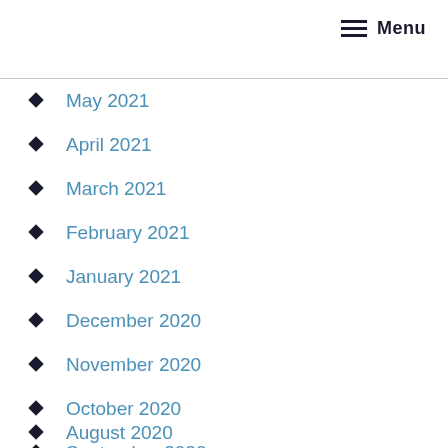Menu
May 2021
April 2021
March 2021
February 2021
January 2021
December 2020
November 2020
October 2020
September 2020
August 2020